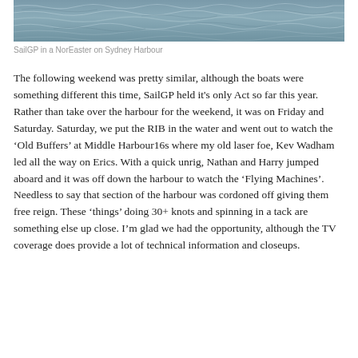[Figure (photo): Choppy water surface of Sydney Harbour with grey-green waves, top portion of a sailing photo]
SailGP in a NorEaster on Sydney Harbour
The following weekend was pretty similar, although the boats were something different this time, SailGP held it's only Act so far this year. Rather than take over the harbour for the weekend, it was on Friday and Saturday. Saturday, we put the RIB in the water and went out to watch the ‘Old Buffers’ at Middle Harbour16s where my old laser foe, Kev Wadham led all the way on Erics. With a quick unrig, Nathan and Harry jumped aboard and it was off down the harbour to watch the ‘Flying Machines’. Needless to say that section of the harbour was cordoned off giving them free reign. These ‘things’ doing 30+ knots and spinning in a tack are something else up close. I’m glad we had the opportunity, although the TV coverage does provide a lot of technical information and closeups.